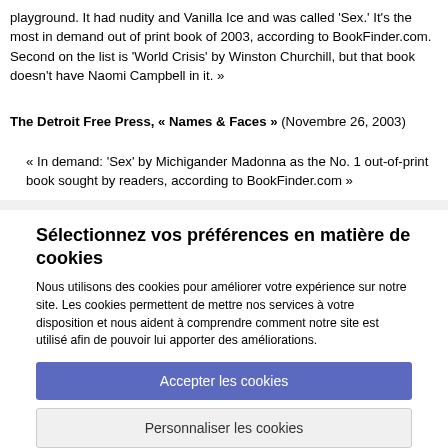playground. It had nudity and Vanilla Ice and was called 'Sex.' It's the most in demand out of print book of 2003, according to BookFinder.com. Second on the list is 'World Crisis' by Winston Churchill, but that book doesn't have Naomi Campbell in it. »
The Detroit Free Press, « Names & Faces » (Novembre 26, 2003)
« In demand: 'Sex' by Michigander Madonna as the No. 1 out-of-print book sought by readers, according to BookFinder.com »
Sélectionnez vos préférences en matière de cookies
Nous utilisons des cookies pour améliorer votre expérience sur notre site. Les cookies permettent de mettre nos services à votre disposition et nous aident à comprendre comment notre site est utilisé afin de pouvoir lui apporter des améliorations.
Accepter les cookies
Personnaliser les cookies